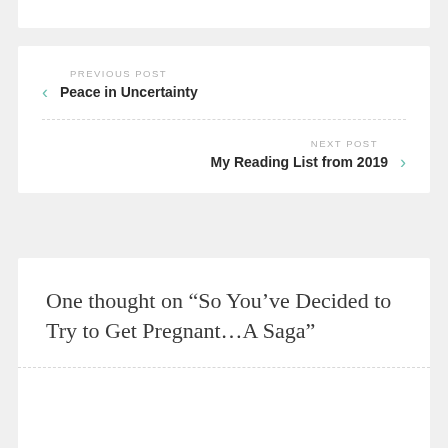PREVIOUS POST
Peace in Uncertainty
NEXT POST
My Reading List from 2019
One thought on “So You’ve Decided to Try to Get Pregnant…A Saga”